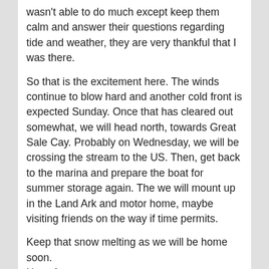wasn't able to do much except keep them calm and answer their questions regarding tide and weather, they are very thankful that I was there.
So that is the excitement here. The winds continue to blow hard and another cold front is expected Sunday. Once that has cleared out somewhat, we will head north, towards Great Sale Cay. Probably on Wednesday, we will be crossing the stream to the US. Then, get back to the marina and prepare the boat for summer storage again. The we will mount up in the Land Ark and motor home, maybe visiting friends on the way if time permits.
Keep that snow melting as we will be home soon.
Hugs from,
Murray & Heather